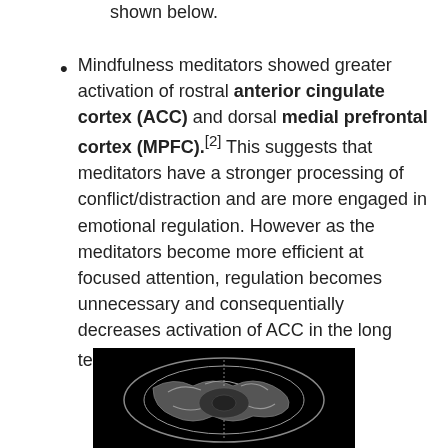shown below.
Mindfulness meditators showed greater activation of rostral anterior cingulate cortex (ACC) and dorsal medial prefrontal cortex (MPFC).[2] This suggests that meditators have a stronger processing of conflict/distraction and are more engaged in emotional regulation. However as the meditators become more efficient at focused attention, regulation becomes unnecessary and consequentially decreases activation of ACC in the long term.[3]
[Figure (photo): Black and white MRI brain scan image showing a cross-sectional view of a human brain.]